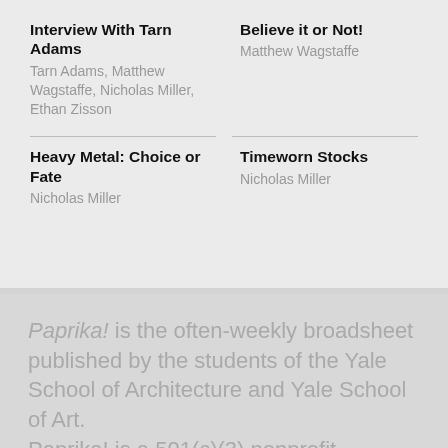Interview With Tarn Adams
Tarn Adams, Matthew Wagstaffe, Nicholas Miller, Ethan Zisson
Believe it or Not!
Matthew Wagstaffe
Heavy Metal: Choice or Fate
Nicholas Miller
Timeworn Stocks
Nicholas Miller
Paprika! is the often-weekly broadsheet published by the students of the Yale School of Architecture and Yale School of Art.
Paprika! is a 501(c)(3) nonprofit organization.
Rudolph Hall
180 York St. New Haven, CT 06511